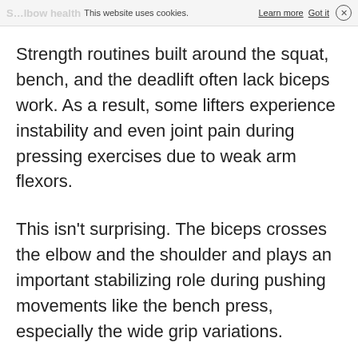This website uses cookies. Learn more  Got it  ×
Strength routines built around the squat, bench, and the deadlift often lack biceps work. As a result, some lifters experience instability and even joint pain during pressing exercises due to weak arm flexors.
This isn't surprising. The biceps crosses the elbow and the shoulder and plays an important stabilizing role during pushing movements like the bench press, especially the wide grip variations.